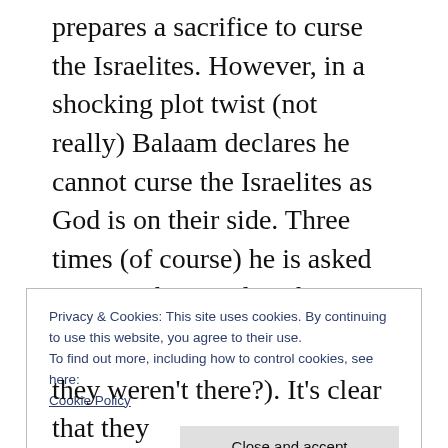prepares a sacrifice to curse the Israelites. However, in a shocking plot twist (not really) Balaam declares he cannot curse the Israelites as God is on their side. Three times (of course) he is asked to curse the Israelites but instead blesses them and predicts that they will destroy all the other nations. Then, without any explanation, everyone goes home and the story ends.
Privacy & Cookies: This site uses cookies. By continuing to use this website, you agree to their use.
To find out more, including how to control cookies, see here:
Cookie Policy
Close and accept
they weren't there?). It's clear that they